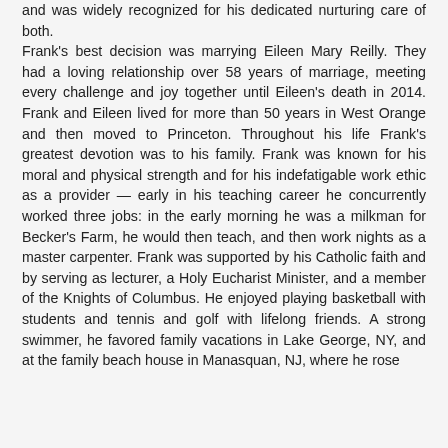and was widely recognized for his dedicated nurturing care of both.
Frank's best decision was marrying Eileen Mary Reilly. They had a loving relationship over 58 years of marriage, meeting every challenge and joy together until Eileen's death in 2014. Frank and Eileen lived for more than 50 years in West Orange and then moved to Princeton. Throughout his life Frank's greatest devotion was to his family. Frank was known for his moral and physical strength and for his indefatigable work ethic as a provider — early in his teaching career he concurrently worked three jobs: in the early morning he was a milkman for Becker's Farm, he would then teach, and then work nights as a master carpenter. Frank was supported by his Catholic faith and by serving as lecturer, a Holy Eucharist Minister, and a member of the Knights of Columbus. He enjoyed playing basketball with students and tennis and golf with lifelong friends. A strong swimmer, he favored family vacations in Lake George, NY, and at the family beach house in Manasquan, NJ, where he rose